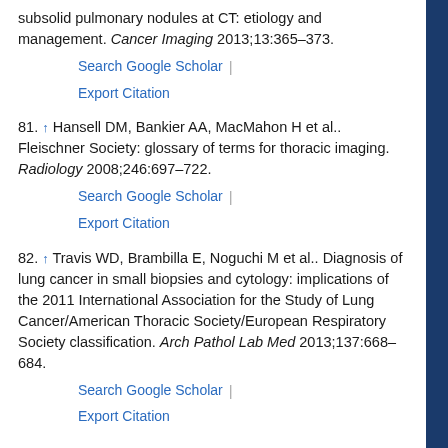subsolid pulmonary nodules at CT: etiology and management. Cancer Imaging 2013;13:365–373.
81. ↑ Hansell DM, Bankier AA, MacMahon H et al.. Fleischner Society: glossary of terms for thoracic imaging. Radiology 2008;246:697–722.
82. ↑ Travis WD, Brambilla E, Noguchi M et al.. Diagnosis of lung cancer in small biopsies and cytology: implications of the 2011 International Association for the Study of Lung Cancer/American Thoracic Society/European Respiratory Society classification. Arch Pathol Lab Med 2013;137:668–684.